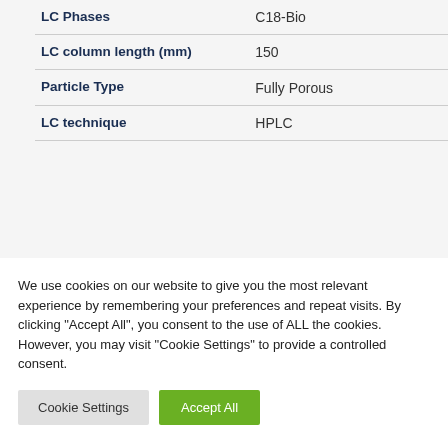| Property | Value |
| --- | --- |
| LC Phases | C18-Bio |
| LC column length (mm) | 150 |
| Particle Type | Fully Porous |
| LC technique | HPLC |
We use cookies on our website to give you the most relevant experience by remembering your preferences and repeat visits. By clicking "Accept All", you consent to the use of ALL the cookies. However, you may visit "Cookie Settings" to provide a controlled consent.